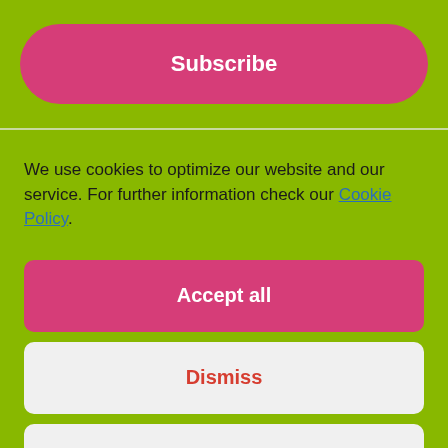Subscribe
We use cookies to optimize our website and our service. For further information check our Cookie Policy.
Accept all
Dismiss
Preferences